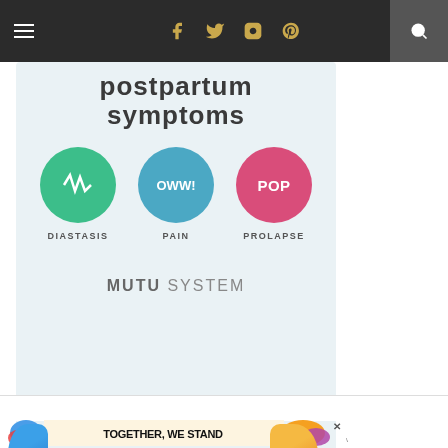Navigation bar with hamburger menu, social icons (Facebook, Twitter, Instagram, Pinterest), and search icon
[Figure (infographic): Postpartum symptoms infographic showing three circular icons: Diastasis (green with zigzag), Pain (teal with OWW!), Prolapse (pink with POP), with MUTU SYSTEM branding below]
[Figure (infographic): Advertisement banner reading TOGETHER WE STAND with colorful blob shapes, close button X, and W logo]